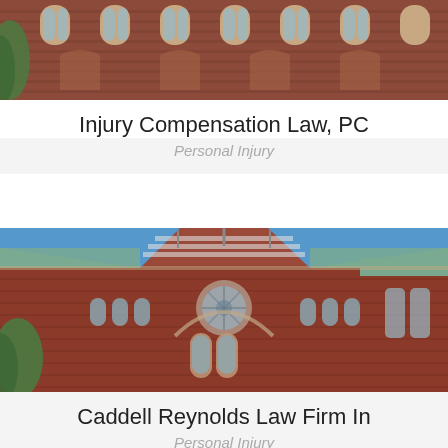[Figure (photo): Photograph of a red brick historic building facade with Gothic arched windows, viewed from below against a light sky. Upper portion of a university or courthouse building.]
Injury Compensation Law, PC
Personal Injury
[Figure (photo): Photograph of a large red brick Victorian Gothic building with ornate striped gabled roofs, a large rose window, arched Gothic windows, and copper-green roof sections under a blue sky. Harvard Memorial Hall style architecture.]
Caddell Reynolds Law Firm In
Personal Injury